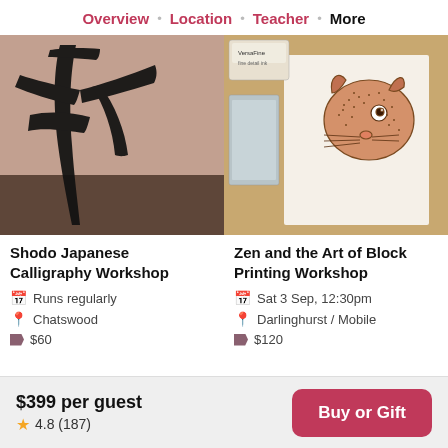Overview · Location · Teacher · More
[Figure (photo): Close-up of Japanese calligraphy brushwork on pinkish-beige paper, showing bold black brush strokes]
[Figure (photo): Block printing artwork showing a detailed squirrel illustration on white card, with VersaFine ink pad visible]
Shodo Japanese Calligraphy Workshop
📅 Runs regularly
📍 Chatswood
$60
Zen and the Art of Block Printing Workshop
📅 Sat 3 Sep, 12:30pm
📍 Darlinghurst / Mobile
$120
$399 per guest
★ 4.8 (187)